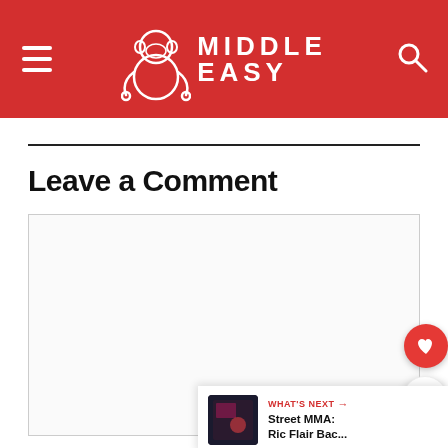Middle Easy
Leave a Comment
[Figure (screenshot): Empty comment textarea input box with resize handle]
WHAT'S NEXT → Street MMA: Ric Flair Bac...